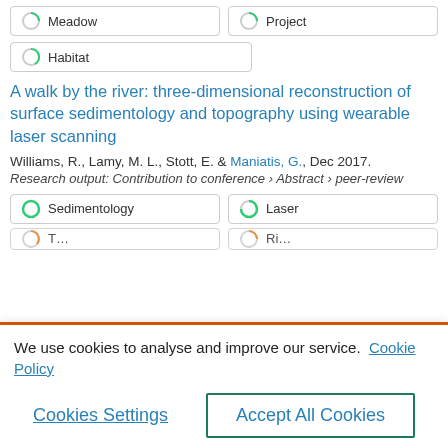Meadow
Project
Habitat
A walk by the river: three-dimensional reconstruction of surface sedimentology and topography using wearable laser scanning
Williams, R., Lamy, M. L., Stott, E. & Maniatis, G., Dec 2017.
Research output: Contribution to conference › Abstract › peer-review
Sedimentology
Laser
We use cookies to analyse and improve our service. Cookie Policy
Cookies Settings
Accept All Cookies